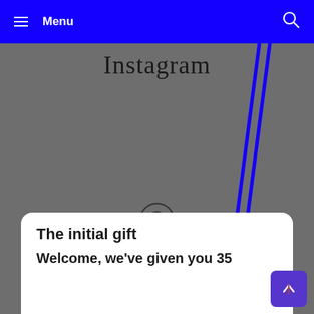Menu
[Figure (screenshot): Instagram app screenshot showing the Instagram logo text at top, a grey background with a camera icon circle, two blue diagonal lines overlaid, and a white card popup at the bottom reading 'The initial gift' and 'Welcome, we've given you 35']
The initial gift
Welcome, we've given you 35